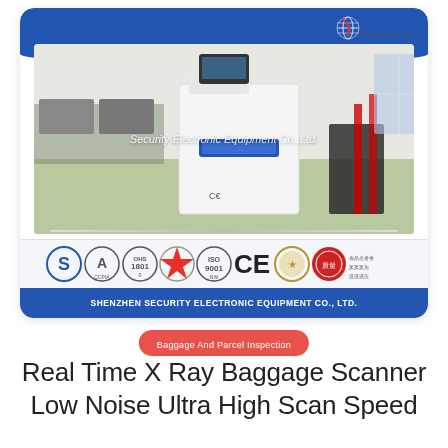[Figure (photo): X-ray baggage scanner machine (white cabinet) in a lab/showroom setting with computer monitors and equipment in the background. SECU SCAN logo visible top right. Certification logos and company name banner at bottom of card.]
Baggage And Parcel Inspection
Real Time X Ray Baggage Scanner Low Noise Ultra High Scan Speed